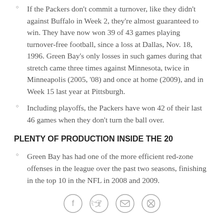If the Packers don't commit a turnover, like they didn't against Buffalo in Week 2, they're almost guaranteed to win. They have now won 39 of 43 games playing turnover-free football, since a loss at Dallas, Nov. 18, 1996. Green Bay's only losses in such games during that stretch came three times against Minnesota, twice in Minneapolis (2005, '08) and once at home (2009), and in Week 15 last year at Pittsburgh.
Including playoffs, the Packers have won 42 of their last 46 games when they don't turn the ball over.
PLENTY OF PRODUCTION INSIDE THE 20
Green Bay has had one of the more efficient red-zone offenses in the league over the past two seasons, finishing in the top 10 in the NFL in 2008 and 2009.